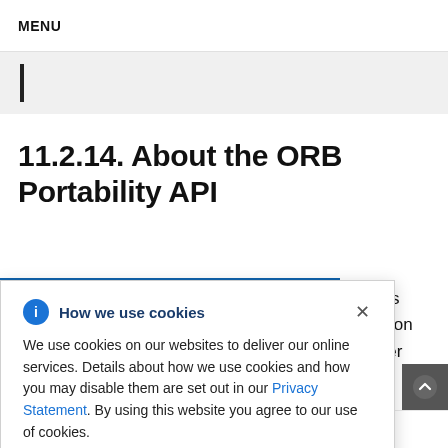MENU
11.2.14. About the ORB Portability API
process ansaction nd other lication terface nicate and equest
How we use cookies

We use cookies on our websites to deliver our online services. Details about how we use cookies and how you may disable them are set out in our Privacy Statement. By using this website you agree to our use of cookies.
Broker Architecture (CORBA) is the IDL used by